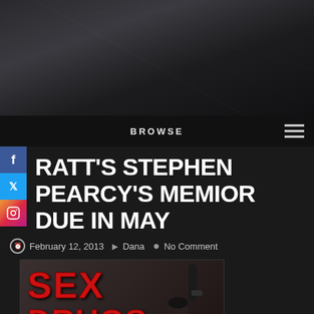BROWSE
RATT'S STEPHEN PEARCY'S MEMIOR DUE IN MAY
February 12, 2013   Dana   No Comment
[Figure (photo): Book cover image showing 'SEX DRUGS' text in red dripping letters with a person raising their fist, dark background]